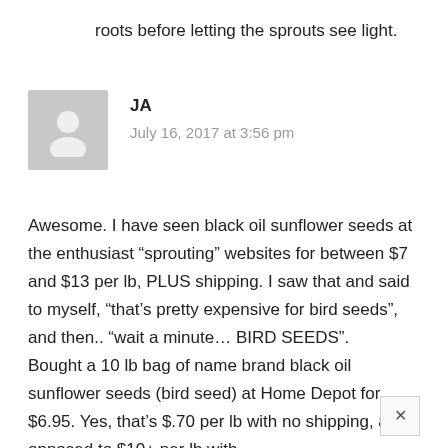roots before letting the sprouts see light.
[Figure (illustration): Gray avatar placeholder icon showing a person silhouette]
JA
July 16, 2017 at 3:56 pm
Awesome. I have seen black oil sunflower seeds at the enthusiast “sprouting” websites for between $7 and $13 per lb, PLUS shipping. I saw that and said to myself, “that’s pretty expensive for bird seeds”, and then.. “wait a minute… BIRD SEEDS”.
Bought a 10 lb bag of name brand black oil sunflower seeds (bird seed) at Home Depot for $6.95. Yes, that’s $.70 per lb with no shipping, as opposed to $10+ per lb with shipping.